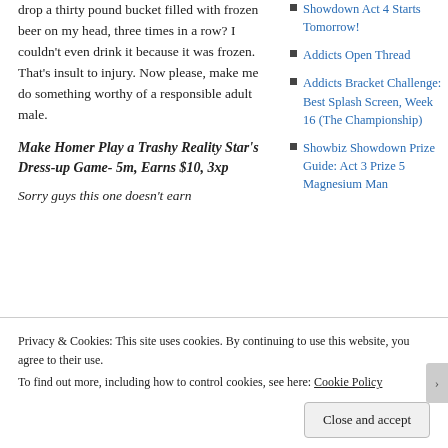drop a thirty pound bucket filled with frozen beer on my head, three times in a row?  I couldn't even drink it because it was frozen.  That's insult to injury.  Now please, make me do something worthy of a responsible adult male.
Make Homer Play a Trashy Reality Star's Dress-up Game- 5m, Earns $10, 3xp
Sorry guys this one doesn't earn
Showdown Act 4 Starts Tomorrow!
Addicts Open Thread
Addicts Bracket Challenge: Best Splash Screen, Week 16 (The Championship)
Showbiz Showdown Prize Guide: Act 3 Prize 5 Magnesium Man
Privacy & Cookies: This site uses cookies. By continuing to use this website, you agree to their use.
To find out more, including how to control cookies, see here: Cookie Policy
Close and accept